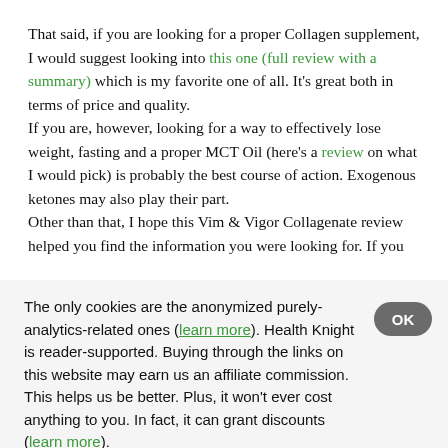That said, if you are looking for a proper Collagen supplement, I would suggest looking into this one (full review with a summary) which is my favorite one of all. It's great both in terms of price and quality.
If you are, however, looking for a way to effectively lose weight, fasting and a proper MCT Oil (here's a review on what I would pick) is probably the best course of action. Exogenous ketones may also play their part.
Other than that, I hope this Vim & Vigor Collagenate review helped you find the information you were looking for. If you have any thoughts or questions, I'm all here...
The only cookies are the anonymized purely-analytics-related ones (learn more). Health Knight is reader-supported. Buying through the links on this website may earn us an affiliate commission. This helps us be better. Plus, it won't ever cost anything to you. In fact, it can grant discounts (learn more).